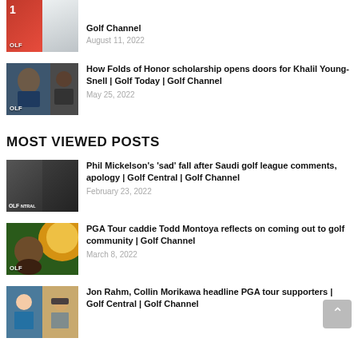[Figure (photo): Golf thumbnail image with red background, number 1 flag, golfer]
Golf Channel
August 11, 2022
[Figure (photo): Photo of man in suit with people around, OLF badge]
How Folds of Honor scholarship opens doors for Khalil Young-Snell | Golf Today | Golf Channel
May 25, 2022
MOST VIEWED POSTS
[Figure (photo): Split thumbnail: news anchor on left, golfer in hat on right, Golf Central badge]
Phil Mickelson's 'sad' fall after Saudi golf league comments, apology | Golf Central | Golf Channel
February 23, 2022
[Figure (photo): Person outdoors with warm sun behind, OLF badge]
PGA Tour caddie Todd Montoya reflects on coming out to golf community | Golf Channel
March 8, 2022
[Figure (photo): Split thumbnail of two golfers]
Jon Rahm, Collin Morikawa headline PGA tour supporters | Golf Central | Golf Channel